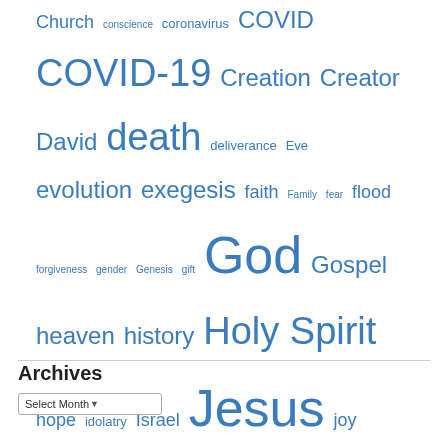[Figure (infographic): A tag cloud of religious and theological topics in various font sizes rendered in blue, including words like Church, conscience, coronavirus, COVID, COVID-19, Creation, Creator, David, death, deliverance, Eve, evolution, exegesis, faith, Family, fear, flood, forgiveness, gender, Genesis, gift, God, Gospel, heaven, history, Holy Spirit, hope, idolatry, Israel, Jesus, joy, judgment, language, law, life, Lord, Lord's supper, love, marriage, message, metaphor, miracle, Moses, myth, nature, Noah, origin, Outreach, Media, Paul, peace, praise, prayer, purpose, respect, resurrection, sacrifice, salvation, Satan, science, second coming, sin, suffering, temptation, trust, universe, war, warning, worship]
Archives
Select Month